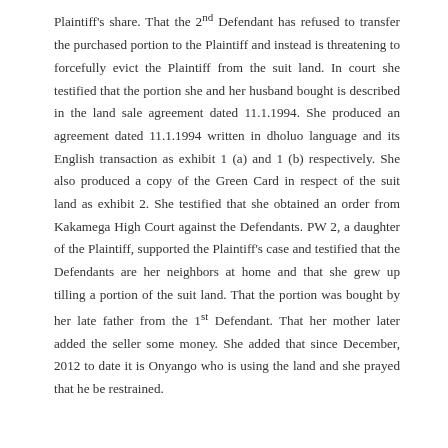Plaintiff's share. That the 2nd Defendant has refused to transfer the purchased portion to the Plaintiff and instead is threatening to forcefully evict the Plaintiff from the suit land. In court she testified that the portion she and her husband bought is described in the land sale agreement dated 11.1.1994. She produced an agreement dated 11.1.1994 written in dholuo language and its English transaction as exhibit 1 (a) and 1 (b) respectively. She also produced a copy of the Green Card in respect of the suit land as exhibit 2. She testified that she obtained an order from Kakamega High Court against the Defendants. PW 2, a daughter of the Plaintiff, supported the Plaintiff's case and testified that the Defendants are her neighbors at home and that she grew up tilling a portion of the suit land. That the portion was bought by her late father from the 1st Defendant. That her mother later added the seller some money. She added that since December, 2012 to date it is Onyango who is using the land and she prayed that he be restrained.